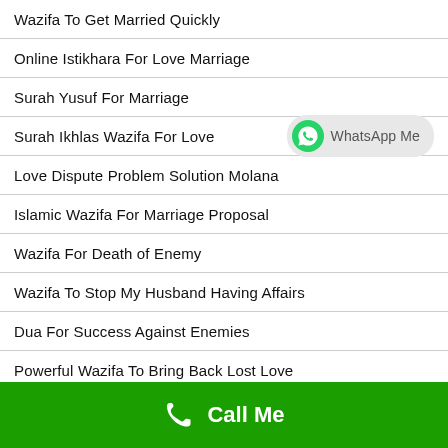Wazifa To Get Married Quickly
Online Istikhara For Love Marriage
Surah Yusuf For Marriage
Surah Ikhlas Wazifa For Love
Love Dispute Problem Solution Molana
Islamic Wazifa For Marriage Proposal
Wazifa For Death of Enemy
Wazifa To Stop My Husband Having Affairs
Dua For Success Against Enemies
Powerful Wazifa To Bring Back Lost Love
Sifli Amal For Love
Call Me